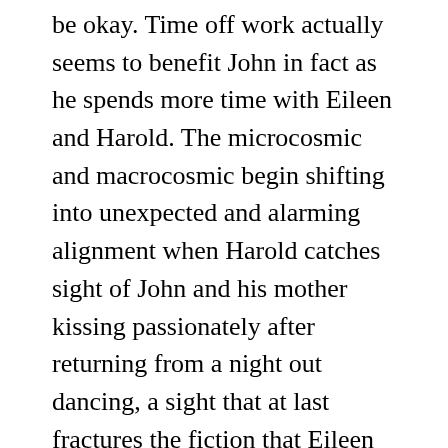be okay. Time off work actually seems to benefit John in fact as he spends more time with Eileen and Harold. The microcosmic and macrocosmic begin shifting into unexpected and alarming alignment when Harold catches sight of John and his mother kissing passionately after returning from a night out dancing, a sight that at last fractures the fiction that Eileen has sustained with her son. Harold takes off with one of his friends and rides the L into the Chicago downtown, wandering around Grant Park in general obliviousness to the furore that's being unleashed as the convention begins and the street clashes wind up, first glimpsed in jarring, spasmodic nocturnal footage